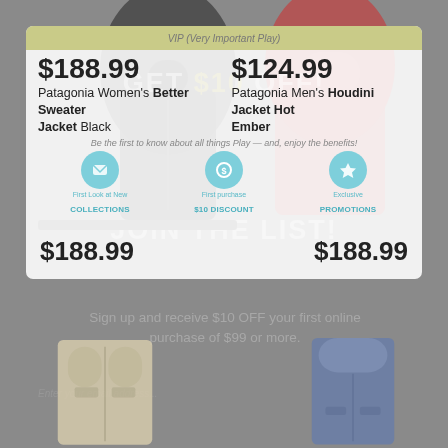[Figure (screenshot): Retail product page screenshot showing Patagonia jackets with a VIP discount popup overlay. Background shows dark gray women's fleece jacket (top left), red men's Houdini jacket (top right), cream-colored fleece (bottom left), blue jacket (bottom right). Overlaid popup card shows VIP benefits and product prices.]
GET $10 OFF!
JOIN THE LIST!
VIP (Very Important Play)
$188.99
$124.99
Patagonia Women's Better Sweater Jacket Black
Patagonia Men's Houdini Jacket Hot Ember
Be the first to know about all things Play — and, enjoy the benefits!
First Look at New COLLECTIONS
First purchase $10 DISCOUNT
Exclusive PROMOTIONS
Sign up and receive $10 OFF your first online purchase of $99 or more.
Enter your email address...
$188.99
$188.99